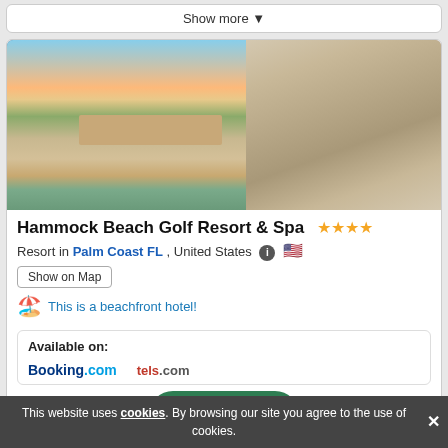Show more ▼
[Figure (photo): Aerial view of Hammock Beach Golf Resort & Spa at sunset with beach and golf course visible]
[Figure (photo): Luxury hotel lobby interior with chandelier, sofas, and fireplace]
Hammock Beach Golf Resort & Spa ★★★★
Resort in Palm Coast FL , United States
Show on Map
This is a beachfront hotel!
Available on:
Booking.com   hotels.com
Categories  1
This website uses cookies. By browsing our site you agree to the use of cookies.